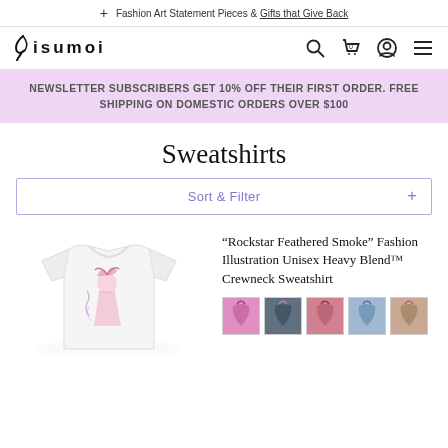Fashion Art Statement Pieces & Gifts that Give Back
[Figure (logo): 8isumoi brand logo with stylized flame icon]
NEWSLETTER SUBSCRIBERS GET 10% OFF THEIR FIRST ORDER. FREE SHIPPING ON DOMESTIC ORDERS OVER $100
Sweatshirts
Sort & Filter
“Rockstar Feathered Smoke” Fashion Illustration Unisex Heavy Blend™ Crewneck Sweatshirt
[Figure (photo): White crewneck sweatshirt with Rockstar Feathered Smoke fashion illustration print]
[Figure (photo): Five color variant swatches for the Rockstar Feathered Smoke sweatshirt]